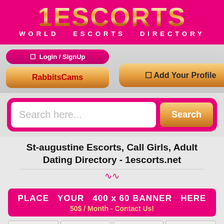[Figure (logo): 1ESCORTS logo with gold gradient text on pink/magenta background, subtitle WORLD ESCORTS DIRECTORY in white]
Login / SignUp
Add Your Profile
RabbitsCams
Search here...
St-augustine Escorts, Call Girls, Adult Dating Directory - 1escorts.net
PLACE  YOUR  400 x 60 BANNER  HERE
50$ / Month - Contact Us!